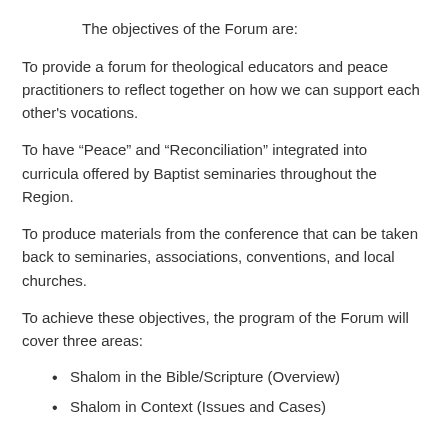The objectives of the Forum are:
To provide a forum for theological educators and peace practitioners to reflect together on how we can support each other's vocations.
To have “Peace” and “Reconciliation” integrated into curricula offered by Baptist seminaries throughout the Region.
To produce materials from the conference that can be taken back to seminaries, associations, conventions, and local churches.
To achieve these objectives, the program of the Forum will cover three areas:
Shalom in the Bible/Scripture (Overview)
Shalom in Context (Issues and Cases)